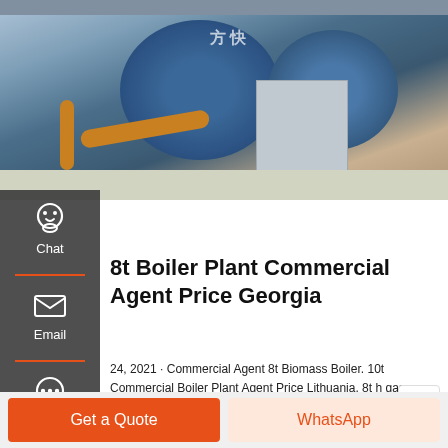[Figure (photo): Industrial boiler plant facility showing large blue cylindrical boilers with orange piping, control boxes, and industrial equipment in a factory setting.]
8t Boiler Plant Commercial Agent Price Georgia
24, 2021 · Commercial Agent 8t Biomass Boiler. 10t Commercial Boiler Plant Agent Price Lithuania. 8t h gas powered or for foam factory industrial for domestic and industrial applications H o val 2013 - 4212331 The construction and manufacturing of the is done according to 110/ 80 Water content l 2900 3500 4500 5000 5500 6500 Flue gas Operated with natural.
Get a Quote
WhatsApp